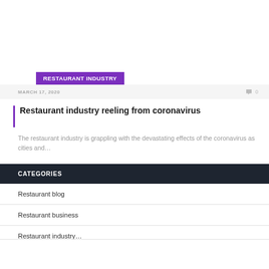RESTAURANT INDUSTRY
MARCH 17, 2020
Restaurant industry reeling from coronavirus
The restaurant industry is grappling with the devastating effects of the coronavirus as cities and…
CATEGORIES
Restaurant blog
Restaurant business